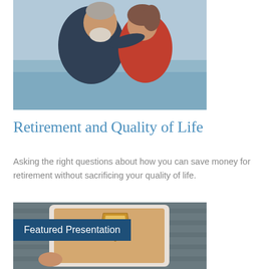[Figure (photo): An elderly couple smiling and embracing outdoors near water, wearing casual jackets.]
Retirement and Quality of Life
Asking the right questions about how you can save money for retirement without sacrificing your quality of life.
[Figure (photo): A tablet device showing a financial presentation with a shield graphic containing text 'Money Market Funds' and 'Certificates of Deposit'. A blue banner overlay reads 'Featured Presentation'.]